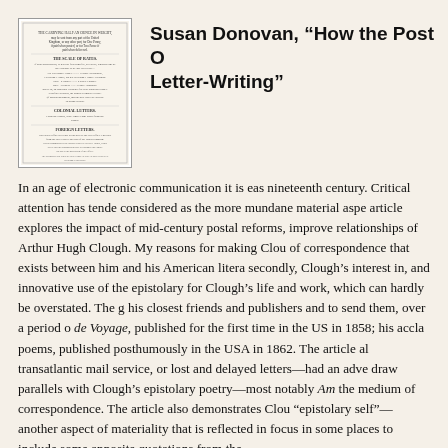[Figure (illustration): A scanned historical document showing postal rates and rules, printed in small text on aged paper with a decorative border.]
Susan Donovan, “How the Post Office Shaped Letter-Writing”
In an age of electronic communication it is easy to overlook the material conditions of letter-writing in the nineteenth century. Critical attention has tended to focus on the literary and cultural aspects of correspondence rather than on what might be considered as the more mundane material aspects. This article explores the impact of mid-century postal reforms, improvements in paper and ink, and the transatlantic relationships of Arthur Hugh Clough. My reasons for making Clough the subject of this study are twofold: first, the richness of correspondence that exists between him and his American literary contacts; and secondly, Clough’s interest in, and innovative use of the epistolary form. The importance of letter-writing for Clough’s life and work, which can hardly be overstated. The great majority of his poems were sent to his closest friends and publishers and to send them, over a period of several years, culminating in Amours de Voyage, published for the first time in the US in 1858; his acclaiming collection of poems, published posthumously in the USA in 1862. The article also examines how the failures of the transatlantic mail service, or lost and delayed letters—had an adverse effect on Clough’s creativity, and draw parallels with Clough’s epistolary poetry—most notably Amours de Voyage—and his ideas about the medium of correspondence. The article also demonstrates Clough’s attempts to construct and present an „pistolary self”—another aspect of materiality that is reflected in his poetry. The article widens its focus in some places to include some apposite quotations from the